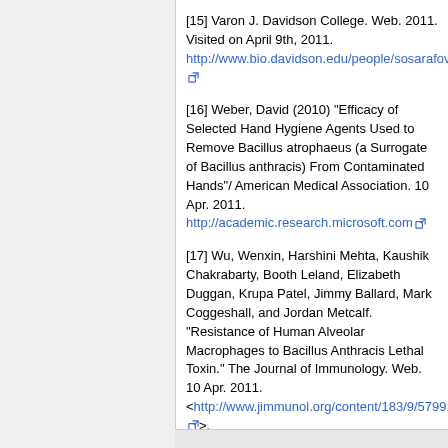[15] Varon J. Davidson College. Web. 2011. Visited on April 9th, 2011. http://www.bio.davidson.edu/people/sosarafova/Assets/Bio307/javaron/Evasion.html
[16] Weber, David (2010) "Efficacy of Selected Hand Hygiene Agents Used to Remove Bacillus atrophaeus (a Surrogate of Bacillus anthracis) From Contaminated Hands"/ American Medical Association. 10 Apr. 2011. http://academic.research.microsoft.com
[17] Wu, Wenxin, Harshini Mehta, Kaushik Chakrabarty, Booth Leland, Elizabeth Duggan, Krupa Patel, Jimmy Ballard, Mark Coggeshall, and Jordan Metcalf. "Resistance of Human Alveolar Macrophages to Bacillus Anthracis Lethal Toxin." The Journal of Immunology. Web. 10 Apr. 2011. <http://www.jimmunol.org/content/183/9/5799.full>.